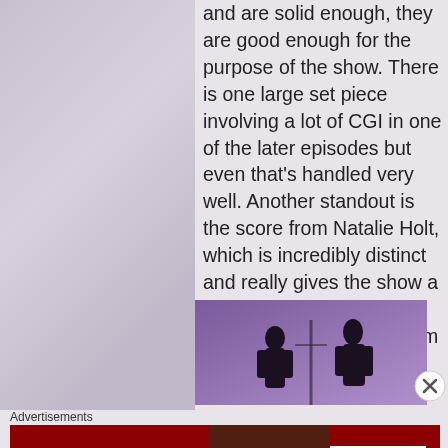and are solid enough, they are good enough for the purpose of the show. There is one large set piece involving a lot of CGI in one of the later episodes but even that's handled very well. Another standout is the score from Natalie Holt, which is incredibly distinct and really gives the show a unique tone and feel. One of my favourite scores from the MCU.
[Figure (photo): Two silhouetted figures standing against a purple/violet background, appearing to be a scene from a TV show or movie]
Advertisements
[Figure (infographic): Advertisement banner with dark red background. Left side reads KISS BORING LIPS GOODBYE in large white bold text. Center shows a woman's face with red lips. Right side has SHOP NOW button and macys star logo in white on red background.]